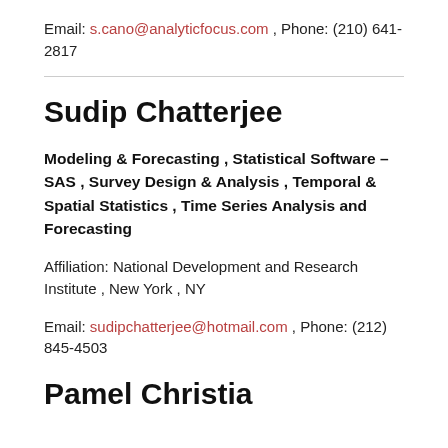Email: s.cano@analyticfocus.com , Phone: (210) 641-2817
Sudip Chatterjee
Modeling & Forecasting , Statistical Software – SAS , Survey Design & Analysis , Temporal & Spatial Statistics , Time Series Analysis and Forecasting
Affiliation: National Development and Research Institute , New York , NY
Email: sudipchatterjee@hotmail.com , Phone: (212) 845-4503